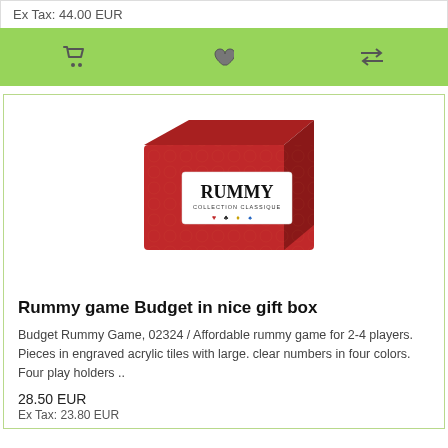Ex Tax: 44.00 EUR
[Figure (infographic): Green action bar with cart icon, heart icon, and compare icon]
[Figure (photo): Red Rummy board game box labeled 'RUMMY COLLECTION CLASSIQUE' with four card suit symbols in red, black, yellow, and blue]
Rummy game Budget in nice gift box
Budget Rummy Game, 02324 / Affordable rummy game for 2-4 players. Pieces in engraved acrylic tiles with large. clear numbers in four colors. Four play holders ..
28.50 EUR
Ex Tax: 23.80 EUR